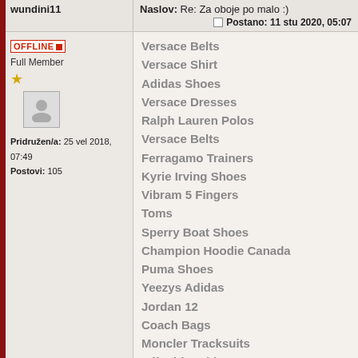wundini11
Naslov: Re: Za oboje po malo :)
Postano: 11 stu 2020, 05:07
OFFLINE
Full Member
Pridružen/a: 25 vel 2018, 07:49
Postovi: 105
Versace Belts
Versace Shirt
Adidas Shoes
Versace Dresses
Ralph Lauren Polos
Versace Belts
Ferragamo Trainers
Kyrie Irving Shoes
Vibram 5 Fingers
Toms
Sperry Boat Shoes
Champion Hoodie Canada
Puma Shoes
Yeezys Adidas
Jordan 12
Coach Bags
Moncler Tracksuits
Off White Shirt
Nike Factory
Skechers Go Walk 5
Birkenstock Shoes
Louboutin Heels
Yeezy Boost 350 V2